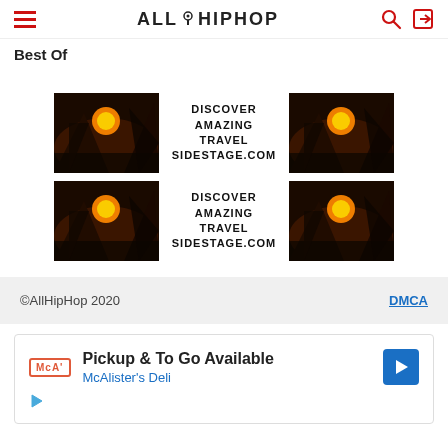AllHipHop
Best Of
[Figure (infographic): Advertisement banner: sunset/mountain landscape images on left and right, center text reads DISCOVER AMAZING TRAVEL SIDESTAGE.COM]
[Figure (infographic): Advertisement banner (duplicate): sunset/mountain landscape images on left and right, center text reads DISCOVER AMAZING TRAVEL SIDESTAGE.COM]
©AllHipHop 2020   DMCA
[Figure (infographic): Ad card: McAlister's Deli - Pickup & To Go Available]